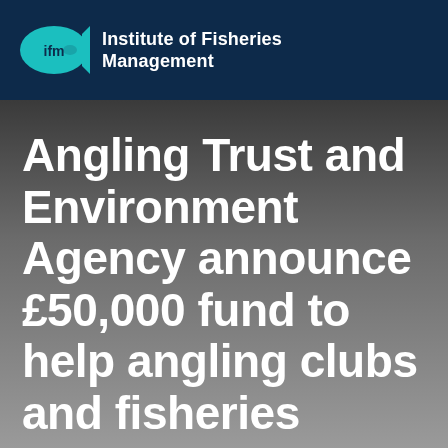[Figure (logo): Institute of Fisheries Management logo: teal fish icon with 'ifm' text on dark navy background, alongside bold white text reading 'Institute of Fisheries Management']
Angling Trust and Environment Agency announce £50,000 fund to help angling clubs and fisheries protect waters from invasive